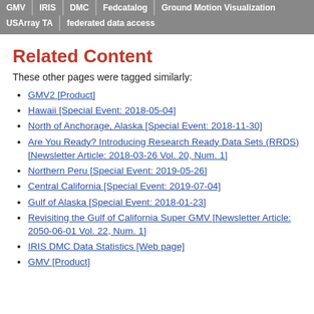GMV | IRIS | DMC | Fedcatalog | Ground Motion Visualization | USArray TA | federated data access
Related Content
These other pages were tagged similarly:
GMV2 [Product]
Hawaii [Special Event: 2018-05-04]
North of Anchorage, Alaska [Special Event: 2018-11-30]
Are You Ready? Introducing Research Ready Data Sets (RRDS) [Newsletter Article: 2018-03-26 Vol. 20, Num. 1]
Northern Peru [Special Event: 2019-05-26]
Central California [Special Event: 2019-07-04]
Gulf of Alaska [Special Event: 2018-01-23]
Revisiting the Gulf of California Super GMV [Newsletter Article: 2050-06-01 Vol. 22, Num. 1]
IRIS DMC Data Statistics [Web page]
GMV [Product]